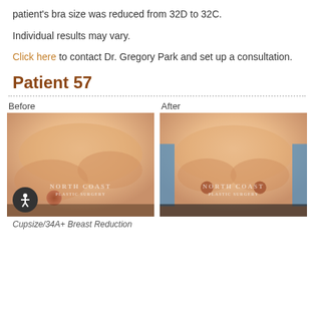patient's bra size was reduced from 32D to 32C.
Individual results may vary.
Click here to contact Dr. Gregory Park and set up a consultation.
Patient 57
[Figure (photo): Before and after photos of breast reduction surgery for Patient 57. Left image shows before, right image shows after. Both images have a North Coast watermark.]
Cupsize/34A+ Breast Reduction